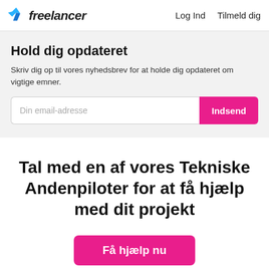freelancer  Log Ind  Tilmeld dig
Hold dig opdateret
Skriv dig op til vores nyhedsbrev for at holde dig opdateret om vigtige emner.
Din email-adresse  Indsend
Tal med en af vores Tekniske Andenpiloter for at få hjælp med dit projekt
Få hjælp nu